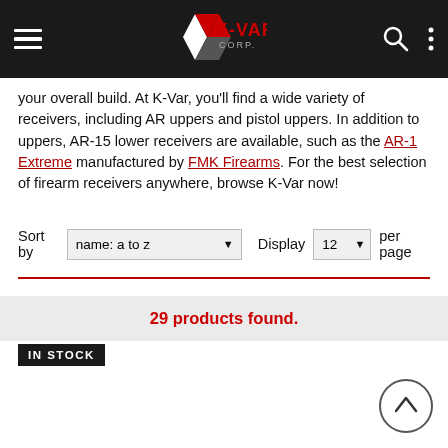K-VAR CORP header navigation bar
your overall build. At K-Var, you'll find a wide variety of receivers, including AR uppers and pistol uppers. In addition to uppers, AR-15 lower receivers are available, such as the AR-1 Extreme manufactured by FMK Firearms. For the best selection of firearm receivers anywhere, browse K-Var now!
Sort by: name: a to z | Display: 12 per page
29 products found.
IN STOCK